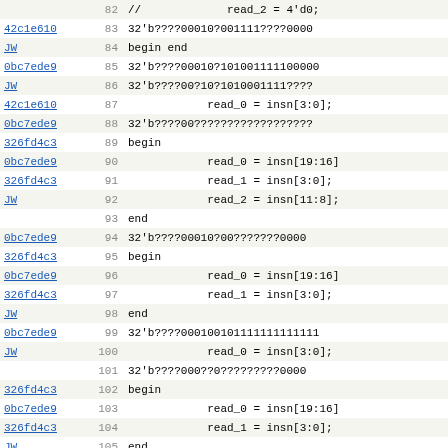| Author | Line | Code |
| --- | --- | --- |
| JW | 82 | // read_2 = 4'd0; |
| 42c1e610 | 83 | 32'b????00010?001111????0000 |
| JW | 84 | begin end |
| 0bc7ede9 | 85 | 32'b????00010?1010011110000 |
| JW | 86 | 32'b????00?10?1010001111???? |
| 42c1e610 | 87 | read_0 = insn[3:0]; |
| 0bc7ede9 | 88 | 32'b????00??????????????????? |
| 326fd4c3 | 89 | begin |
| 0bc7ede9 | 90 | read_0 = insn[19:16] |
| 326fd4c3 | 91 | read_1 = insn[3:0]; |
| JW | 92 | read_2 = insn[11:8]; |
|  | 93 | end |
| 0bc7ede9 | 94 | 32'b????00010?00???????0000 |
| 326fd4c3 | 95 | begin |
| 0bc7ede9 | 96 | read_0 = insn[19:16] |
| 326fd4c3 | 97 | read_1 = insn[3:0]; |
| JW | 98 | end |
| 0bc7ede9 | 99 | 32'b????0001001011111111111 |
| JW | 100 | read_0 = insn[3:0]; |
|  | 101 | 32'b????000??0?????????0000 |
| 326fd4c3 | 102 | begin |
| 0bc7ede9 | 103 | read_0 = insn[19:16] |
| 326fd4c3 | 104 | read_1 = insn[3:0]; |
| JW | 105 | end |
|  | 106 | 32'b????000??1?????????0000 |
|  | 107 | begin |
| 0bc7ede9 | 108 | read_0 = insn[19:16] |
| 326fd4c3 | 109 | end |
| 0bc7ede9 | 110 | 32'b????011??????????????????? |
| 326fd4c3 | 111 | begin end |
| 0bc7ede9 | 112 | 32'b????01???????????????????? |
| 326fd4c3 | 113 | begin |
| 0bc7ede9 | 114 | read_0 = insn[19:16] |